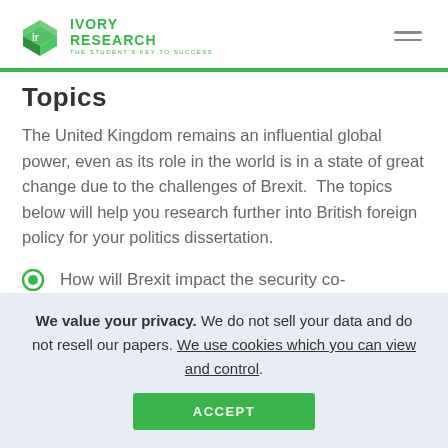IVORY RESEARCH — THE STUDENT'S KEY TO SUCCESS
Topics
The United Kingdom remains an influential global power, even as its role in the world is in a state of great change due to the challenges of Brexit.  The topics below will help you research further into British foreign policy for your politics dissertation.
How will Brexit impact the security co-
We value your privacy. We do not sell your data and do not resell our papers. We use cookies which you can view and control.